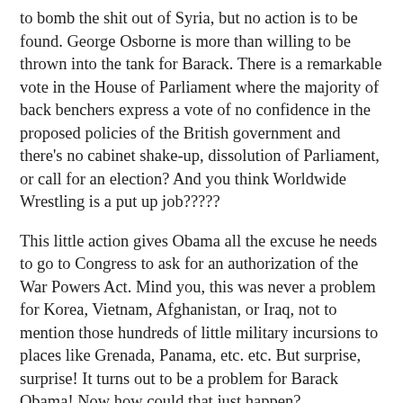to bomb the shit out of Syria, but no action is to be found. George Osborne is more than willing to be thrown into the tank for Barack. There is a remarkable vote in the House of Parliament where the majority of back benchers express a vote of no confidence in the proposed policies of the British government and there's no cabinet shake-up, dissolution of Parliament, or call for an election? And you think Worldwide Wrestling is a put up job?????
This little action gives Obama all the excuse he needs to go to Congress to ask for an authorization of the War Powers Act. Mind you, this was never a problem for Korea, Vietnam, Afghanistan, or Iraq, not to mention those hundreds of little military incursions to places like Grenada, Panama, etc. etc. But surprise, surprise! It turns out to be a problem for Barack Obama! Now how could that just happen?
Of course, the chattering classes go all nuclear. That Barack Obama is so inept and foolish! What's wrong with that boy? Yadda yadda yadda. And we can see the results. John Kerry's supposed off the cuff remarks lead to a remarkable chain reaction where peace appears to be breaking out all